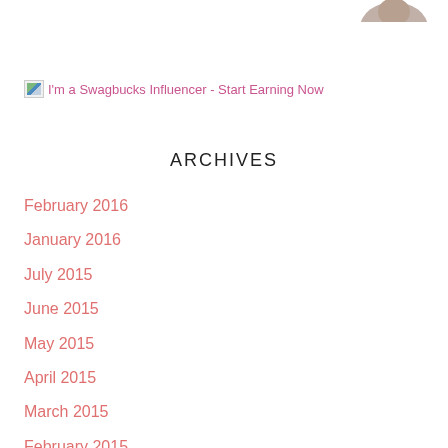[Figure (photo): Partial image visible at the top right corner of the page — appears to be a person's photo cropped at the top edge]
[Figure (illustration): Broken image placeholder with alt text 'I'm a Swagbucks Influencer - Start Earning Now' and a small landscape thumbnail icon]
ARCHIVES
February 2016
January 2016
July 2015
June 2015
May 2015
April 2015
March 2015
February 2015